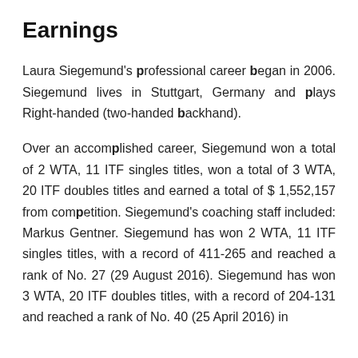Earnings
Laura Siegemund's professional career began in 2006. Siegemund lives in Stuttgart, Germany and plays Right-handed (two-handed backhand).
Over an accomplished career, Siegemund won a total of 2 WTA, 11 ITF singles titles, won a total of 3 WTA, 20 ITF doubles titles and earned a total of $ 1,552,157 from competition. Siegemund's coaching staff included: Markus Gentner. Siegemund has won 2 WTA, 11 ITF singles titles, with a record of 411-265 and reached a rank of No. 27 (29 August 2016). Siegemund has won 3 WTA, 20 ITF doubles titles, with a record of 204-131 and reached a rank of No. 40 (25 April 2016) in